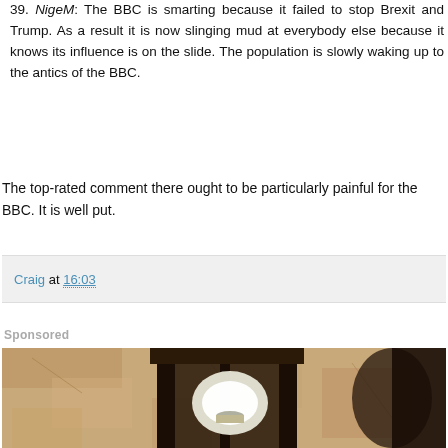39. NigeM: The BBC is smarting because it failed to stop Brexit and Trump. As a result it is now slinging mud at everybody else because it knows its influence is on the slide. The population is slowly waking up to the antics of the BBC.
The top-rated comment there ought to be particularly painful for the BBC. It is well put.
Craig at 16:03
Sponsored
[Figure (photo): A close-up photo of an outdoor wall-mounted lantern light fixture against a textured stone or stucco wall, sepia-toned.]